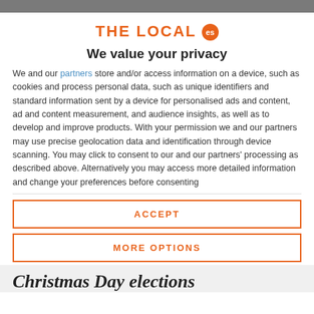THE LOCAL es
We value your privacy
We and our partners store and/or access information on a device, such as cookies and process personal data, such as unique identifiers and standard information sent by a device for personalised ads and content, ad and content measurement, and audience insights, as well as to develop and improve products. With your permission we and our partners may use precise geolocation data and identification through device scanning. You may click to consent to our and our partners' processing as described above. Alternatively you may access more detailed information and change your preferences before consenting
ACCEPT
MORE OPTIONS
Christmas Day elections